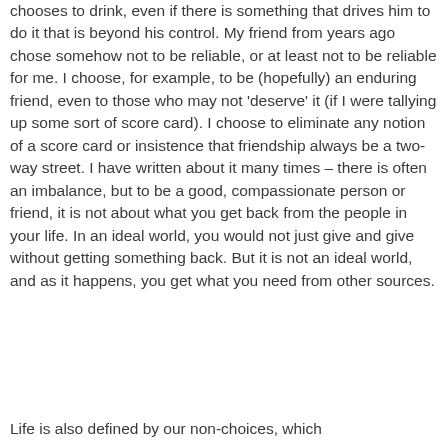chooses to drink, even if there is something that drives him to do it that is beyond his control. My friend from years ago chose somehow not to be reliable, or at least not to be reliable for me. I choose, for example, to be (hopefully) an enduring friend, even to those who may not 'deserve' it (if I were tallying up some sort of score card). I choose to eliminate any notion of a score card or insistence that friendship always be a two-way street. I have written about it many times – there is often an imbalance, but to be a good, compassionate person or friend, it is not about what you get back from the people in your life. In an ideal world, you would not just give and give without getting something back. But it is not an ideal world, and as it happens, you get what you need from other sources.
Life is also defined by our non-choices, which